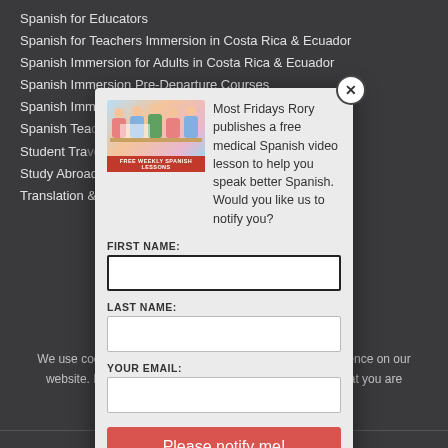Spanish for Educators
Spanish for Teachers Immersion in Costa Rica & Ecuador
Spanish Immersion for Adults in Costa Rica & Ecuador
Spanish Immersion Pre-Departure Courses
Spanish Immersion Programs In Costa Rica & Ecuador
Spanish Tea... [partially obscured]
Student Tra... [partially obscured]
Study Abroad Programs in Cos... [partially obscured]
Translation & Interpretation
[Figure (screenshot): Modal popup with image of medical professionals, text about free medical Spanish video lessons, and a signup form with fields for First Name, Last Name, Your Email, and a 'Please notify me!' button]
Most Fridays Rory publishes a free medical Spanish video lesson to help you speak better Spanish. Would you like us to notify you?
FIRST NAME:
LAST NAME:
YOUR EMAIL:
Please notify me!
We use cookies to ensure that we give you the best experience on our website. If you continue to use this site we will assume that you are happy with it.
Ok